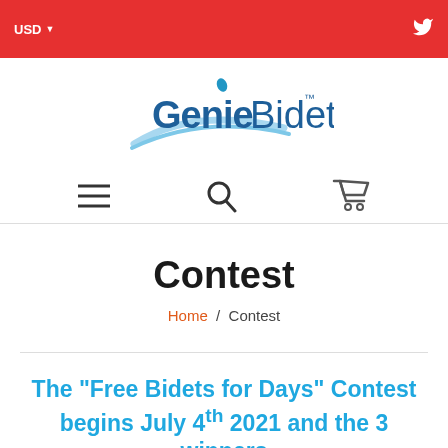USD ▼  [Twitter icon]
[Figure (logo): GenieBidet logo with blue swoosh and brand name in blue and dark text]
[Figure (infographic): Navigation bar with hamburger menu, search icon, and cart icon]
Contest
Home / Contest
The "Free Bidets for Days" Contest begins July 4th 2021 and the 3 winners